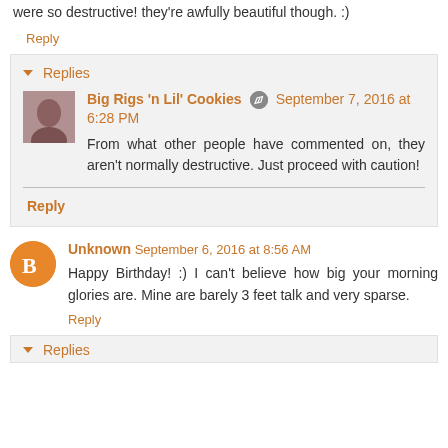were so destructive! they're awfully beautiful though. :)
Reply
Replies
Big Rigs 'n Lil' Cookies  September 7, 2016 at 6:28 PM
From what other people have commented on, they aren't normally destructive. Just proceed with caution!
Reply
Unknown  September 6, 2016 at 8:56 AM
Happy Birthday! :) I can't believe how big your morning glories are. Mine are barely 3 feet talk and very sparse.
Reply
Replies